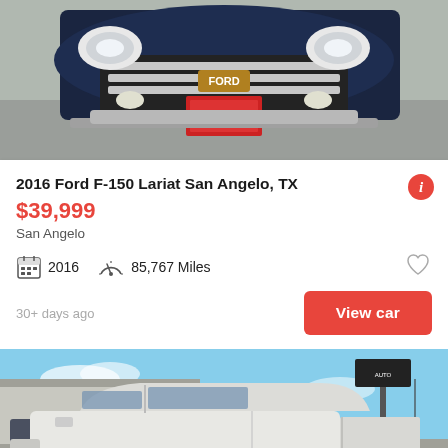[Figure (photo): Front close-up of a dark navy/black Ford F-150 truck facing forward, grille and headlights visible, red license plate area, chrome accents, on pavement.]
2016 Ford F-150 Lariat San Angelo, TX
$39,999
San Angelo
2016  85,767 Miles
30+ days ago
View car
[Figure (photo): Side profile of a white/silver Ford F-150 truck parked at a dealership lot, blue sky background, dealership signage visible in background. 'See photo >' button overlay in bottom right.]